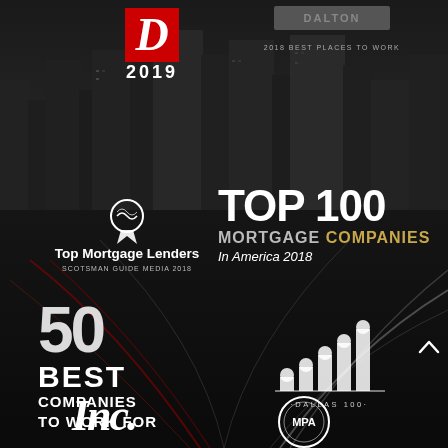[Figure (infographic): Award badges and logos displayed over a dark cityscape and highway background. Top area shows D Magazine 2019 logo (red D with white 2019 text) and 2018 Best Places to Work badge. Middle section shows Top Mortgage Lenders Scotsman Guide Media 2018 medal and TOP 100 MORTGAGE COMPANIES In America 2018 badge. Lower section shows 50 BEST COMPANIES TO WORK FOR text and Dallas 100 bar chart logo. Bottom shows Inc. magazine logo and MPA badge. Dark city skyline and light-trail highway road in background.]
D 2019
2018 BEST PLACES TO WORK
Top Mortgage Lenders
SCOTSMAN GUIDE MEDIA  2018
TOP 100 MORTGAGE COMPANIES In America 2018
50 BEST COMPANIES TO WORK FOR
DALLAS 100
Inc.
MPA